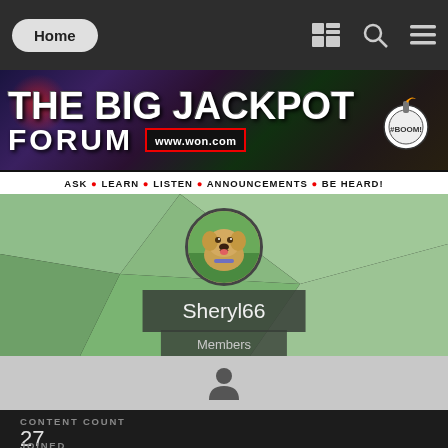Home
[Figure (screenshot): The Big Jackpot Forum banner with logo, bomb graphic, and tagline: ASK • LEARN • LISTEN • ANNOUNCEMENTS • BE HEARD! www.won.com]
[Figure (photo): Circular avatar photo of a yellow/golden Labrador dog sitting on grass]
Sheryl66
Members
[Figure (other): Person/user icon silhouette in gray strip]
CONTENT COUNT
27
JOINED